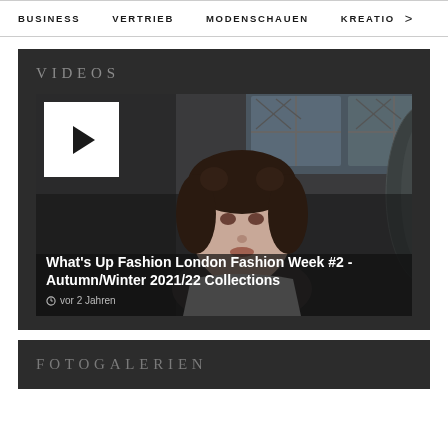BUSINESS   VERTRIEB   MODENSCHAUEN   KREATIO   >
VIDEOS
[Figure (screenshot): Video thumbnail showing a woman with dark curly hair in a dark gothic interior setting, with a white play button overlay in the top left corner. Video title: What's Up Fashion London Fashion Week #2 - Autumn/Winter 2021/22 Collections. Timestamp: vor 2 Jahren.]
FOTOGALERIEN